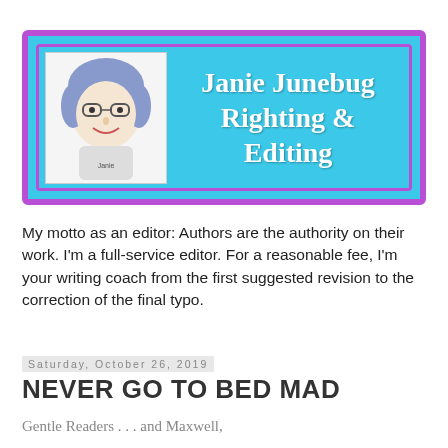[Figure (illustration): Blog header banner with cyan/turquoise background, purple border, a cartoon avatar of a woman with glasses and curly hair on the left, and the blog title 'Janie Junebug Righting & Editing' in white Comic Sans-style font on the right.]
My motto as an editor: Authors are the authority on their work. I'm a full-service editor. For a reasonable fee, I'm your writing coach from the first suggested revision to the correction of the final typo.
Saturday, October 26, 2019
NEVER GO TO BED MAD
Gentle Readers . . . and Maxwell,